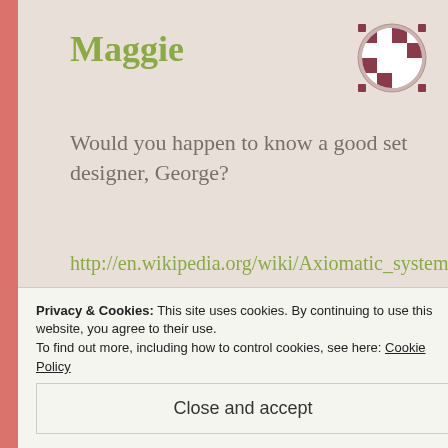Maggie
[Figure (logo): Circular logo with checkered pattern in dark red/maroon and white colors]
Would you happen to know a good set designer, George?
http://en.wikipedia.org/wiki/Axiomatic_system
Hmmmmm ... Guess we may need some help here ...
Privacy & Cookies: This site uses cookies. By continuing to use this website, you agree to their use.
To find out more, including how to control cookies, see here: Cookie Policy
Close and accept